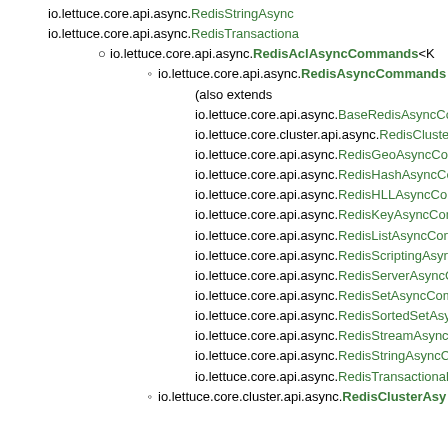io.lettuce.core.api.async.RedisStringAsync...
io.lettuce.core.api.async.RedisTransactiona...
io.lettuce.core.api.async.RedisAclAsyncCommands<K...
io.lettuce.core.api.async.RedisAsyncCommands (also extends io.lettuce.core.api.async.BaseRedisAsyncComma... io.lettuce.core.cluster.api.async.RedisClusterAsyn... io.lettuce.core.api.async.RedisGeoAsyncComman... io.lettuce.core.api.async.RedisHashAsyncComma... io.lettuce.core.api.async.RedisHLLAsyncComman... io.lettuce.core.api.async.RedisKeyAsyncComman... io.lettuce.core.api.async.RedisListAsyncComman... io.lettuce.core.api.async.RedisScriptingAsyncCon... io.lettuce.core.api.async.RedisServerAsyncComm... io.lettuce.core.api.async.RedisSetAsyncComman... io.lettuce.core.api.async.RedisSortedSetAsyncCo... io.lettuce.core.api.async.RedisStreamAsyncComm... io.lettuce.core.api.async.RedisStringAsyncComm... io.lettuce.core.api.async.RedisTransactionalAsyne...
io.lettuce.core.cluster.api.async.RedisClusterAsy...